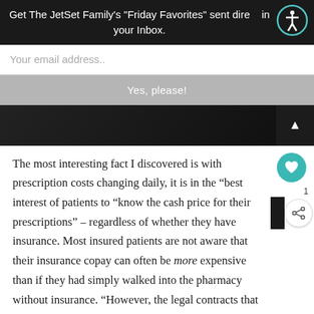Get The JetSet Family's "Friday Favorites" sent directly in your Inbox.
Your email address..
Yes, please!
[Figure (photo): Dark image strip with an upward arrow button on the right side]
The most interesting fact I discovered is with prescription costs changing daily, it is in the “best interest of patients to “know the cash price for their prescriptions” – regardless of whether they have insurance. Most insured patients are not aware that their insurance copay can often be more expensive than if they had simply walked into the pharmacy without insurance. “However, the legal contracts that exist